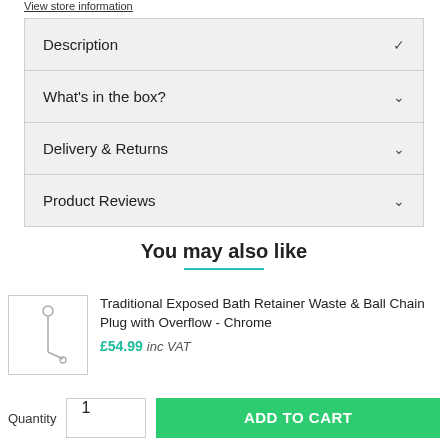View store information
Description
What's in the box?
Delivery & Returns
Product Reviews
You may also like
Traditional Exposed Bath Retainer Waste & Ball Chain Plug with Overflow - Chrome
£54.99  inc VAT
Quantity  1  ADD TO CART